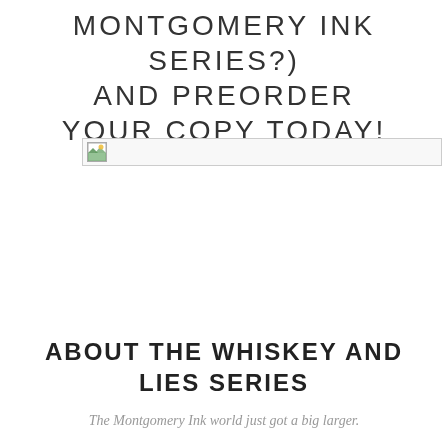MONTGOMERY INK SERIES?) AND PREORDER YOUR COPY TODAY!
[Figure (illustration): Broken/missing image placeholder with small icon showing a landscape thumbnail in the top-left corner]
ABOUT THE WHISKEY AND LIES SERIES
The Montgomery Ink world just got a big larger.